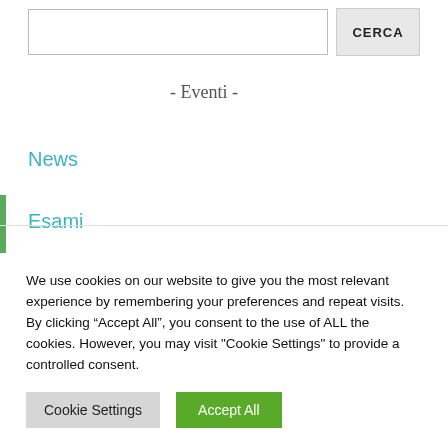[Figure (screenshot): Search input box and CERCA button]
- Eventi -
News
Esami
Seminari
We use cookies on our website to give you the most relevant experience by remembering your preferences and repeat visits. By clicking “Accept All”, you consent to the use of ALL the cookies. However, you may visit "Cookie Settings" to provide a controlled consent.
Cookie Settings | Accept All